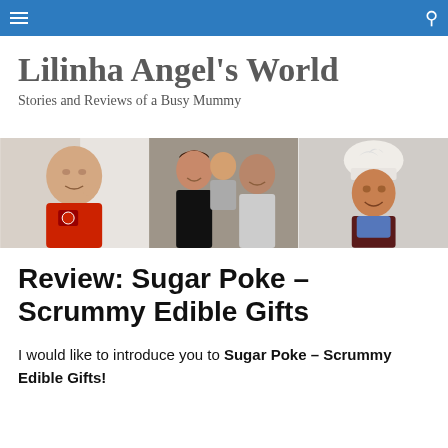Lilinha Angel's World
Stories and Reviews of a Busy Mummy
[Figure (photo): Three photos side by side: a baby in a red Arsenal onesie, a family of three posing together (woman, toddler, man), and a young child wearing a chef's hat and blue bib.]
Review: Sugar Poke – Scrummy Edible Gifts
I would like to introduce you to Sugar Poke – Scrummy Edible Gifts!